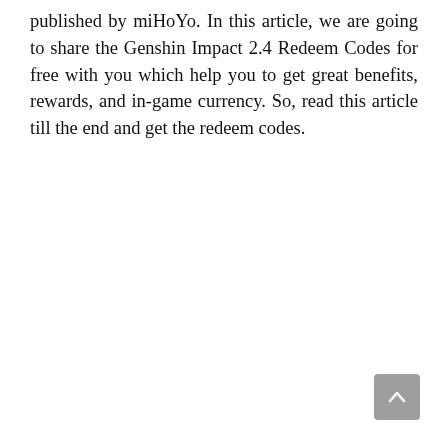published by miHoYo. In this article, we are going to share the Genshin Impact 2.4 Redeem Codes for free with you which help you to get great benefits, rewards, and in-game currency. So, read this article till the end and get the redeem codes.